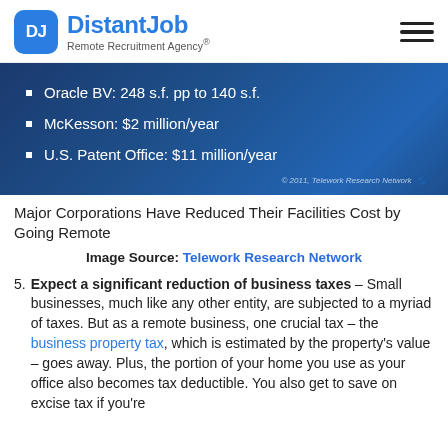DistantJob Remote Recruitment Agency®
[Figure (screenshot): Dark blue panel with white bullet points listing: Oracle BV: 248 s.f. pp to 140 s.f. / McKesson: $2 million/year / U.S. Patent Office: $11 million/year. Footer: © 2011, Telework Research Network]
Major Corporations Have Reduced Their Facilities Cost by Going Remote
Image Source: Telework Research Network
5. Expect a significant reduction of business taxes – Small businesses, much like any other entity, are subjected to a myriad of taxes. But as a remote business, one crucial tax – the business property tax, which is estimated by the property's value – goes away. Plus, the portion of your home you use as your office also becomes tax deductible. You also get to save on excise tax if you're